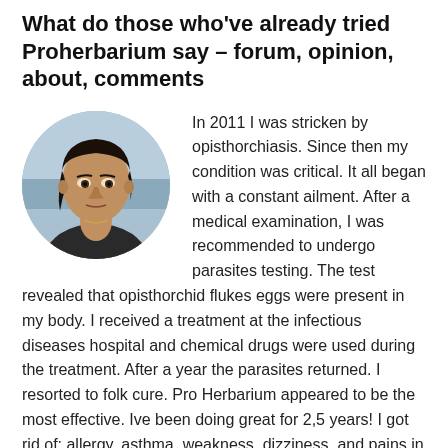What do those who've already tried Proherbarium say – forum, opinion, about, comments
[Figure (photo): Circular cropped portrait photo of a middle-aged woman with dark hair, looking directly at the camera, with a light background.]
In 2011 I was stricken by opisthorchiasis. Since then my condition was critical. It all began with a constant ailment. After a medical examination, I was recommended to undergo parasites testing. The test revealed that opisthorchid flukes eggs were present in my body. I received a treatment at the infectious diseases hospital and chemical drugs were used during the treatment. After a year the parasites returned. I resorted to folk cure. Pro Herbarium appeared to be the most effective. Ive been doing great for 2,5 years! I got rid of: allergy, asthma, weakness, dizziness, and pains in the right hypochondrium. My tongue regained its